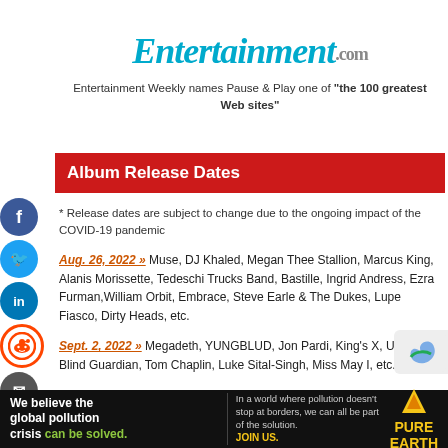[Figure (logo): Entertainment Weekly logo in teal/blue italic serif font with .com]
Entertainment Weekly names Pause & Play one of "the 100 greatest Web sites"
Album Release Dates
* Release dates are subject to change due to the ongoing impact of the COVID-19 pandemic
Aug. 26, 2022 » Muse, DJ Khaled, Megan Thee Stallion, Marcus King, Alanis Morissette, Tedeschi Trucks Band, Bastille, Ingrid Andress, Ezra Furman, William Orbit, Embrace, Steve Earle & The Dukes, Lupe Fiasco, Dirty Heads, etc.
Sept. 2, 2022 » Megadeth, YUNGBLUD, Jon Pardi, King's X, Unloved, Blind Guardian, Tom Chaplin, Luke Sital-Singh, Miss May I, etc.
Sept. 9, 2022 » Ozzy Osbourne, Kane Brown, John Legend, "St...
[Figure (infographic): Pure Earth advertisement banner: 'We believe the global pollution crisis can be solved.' with Pure Earth logo]